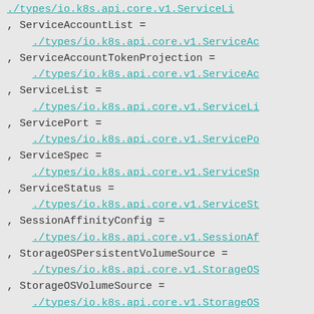Code listing showing Kubernetes API type assignments with links to type definitions: ServiceAccountList, ServiceAccountTokenProjection, ServiceList, ServicePort, ServiceSpec, ServiceStatus, SessionAffinityConfig, StorageOSPersistentVolumeSource, StorageOSVolumeSource, Sysctl, TCPSocketAction